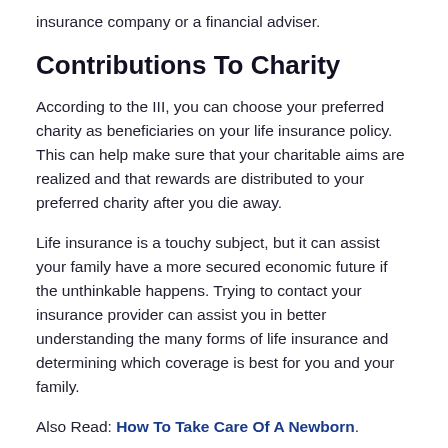insurance company or a financial adviser.
Contributions To Charity
According to the III, you can choose your preferred charity as beneficiaries on your life insurance policy. This can help make sure that your charitable aims are realized and that rewards are distributed to your preferred charity after you die away.
Life insurance is a touchy subject, but it can assist your family have a more secured economic future if the unthinkable happens. Trying to contact your insurance provider can assist you in better understanding the many forms of life insurance and determining which coverage is best for you and your family.
Also Read: How To Take Care Of A Newborn.